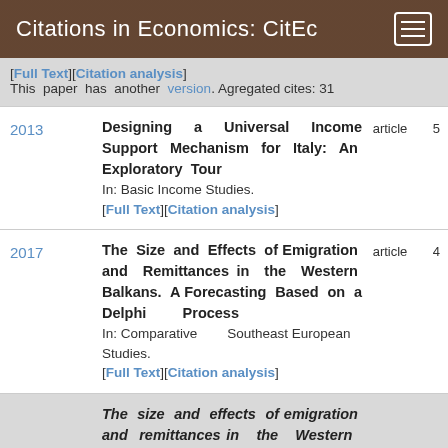Citations in Economics: CitEc
[Full Text][Citation analysis] This paper has another version. Agregated cites: 31
2013 | Designing a Universal Income Support Mechanism for Italy: An Exploratory Tour | article | 5 | In: Basic Income Studies. [Full Text][Citation analysis]
2017 | The Size and Effects of Emigration and Remittances in the Western Balkans. A Forecasting Based on a Delphi Process | article | 4 | In: Comparative Southeast European Studies. [Full Text][Citation analysis]
The size and effects of emigration and remittances in the Western Balkans: (partial, cut off)